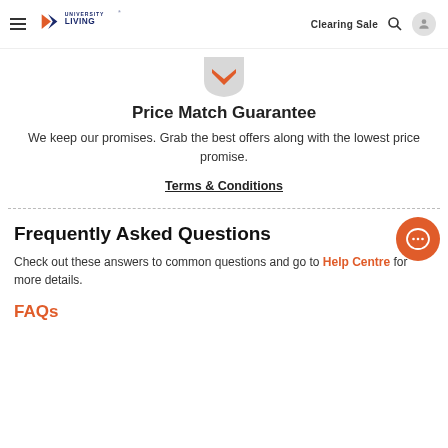University Living — Clearing Sale
[Figure (illustration): University Living logo with orange and navy chevron icon]
[Figure (illustration): Price match guarantee shield badge icon in orange/grey]
Price Match Guarantee
We keep our promises. Grab the best offers along with the lowest price promise.
Terms & Conditions
Frequently Asked Questions
Check out these answers to common questions and go to Help Centre for more details.
FAQs